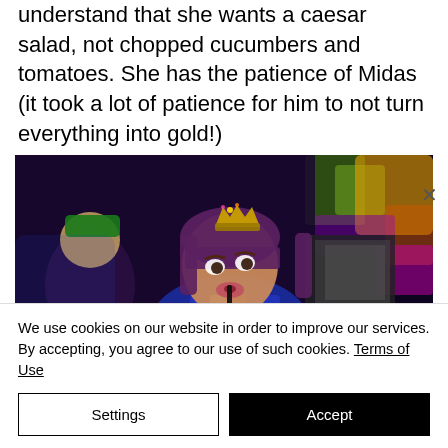understand that she wants a caesar salad, not chopped cucumbers and tomatoes. She has the patience of Midas (it took a lot of patience for him to not turn everything into gold!)
[Figure (photo): A woman wearing a gold crown at a party, holding a straw to her mouth, with colorful blurred lights in the background and another person partially visible on the left.]
We use cookies on our website in order to improve our services. By accepting, you agree to our use of such cookies. Terms of Use
Settings
Accept